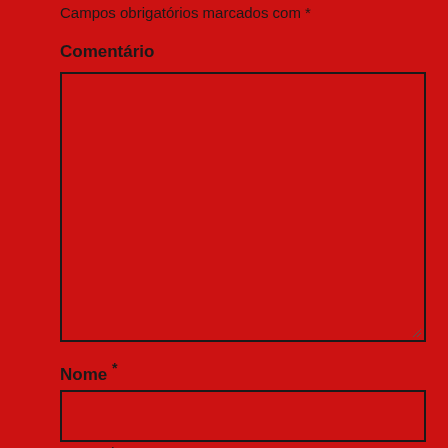Campos obrigatórios marcados com *
Comentário
[Figure (other): Large empty textarea input box with black border on red background, with resize handle in bottom-right corner]
Nome *
[Figure (other): Single-line text input box with black border on red background]
Email *